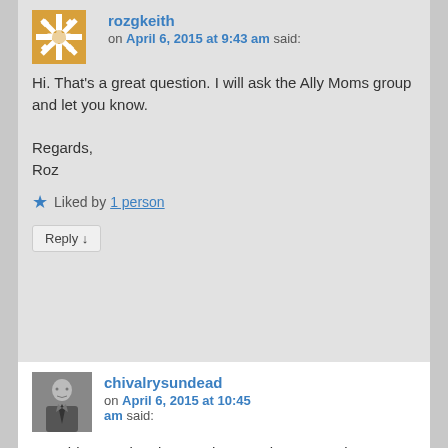[Figure (illustration): Orange/white geometric snowflake avatar for user rozgkeith]
rozgkeith on April 6, 2015 at 9:43 am said:
Hi. That's a great question. I will ask the Ally Moms group and let you know.

Regards,
Roz
★ Liked by 1 person
Reply ↓
[Figure (photo): Black and white photo avatar of user chivalrysundead, a man in a suit]
chivalrysundead on April 6, 2015 at 10:45 am said:
I would appreciate it more than you know. I've done some searching, but I can't find anything. 🙂